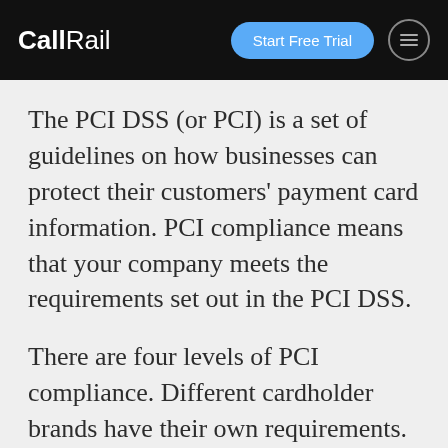CallRail | Start Free Trial
The PCI DSS (or PCI) is a set of guidelines on how businesses can protect their customers' payment card information. PCI compliance means that your company meets the requirements set out in the PCI DSS.
There are four levels of PCI compliance. Different cardholder brands have their own requirements. If you take payments from several card